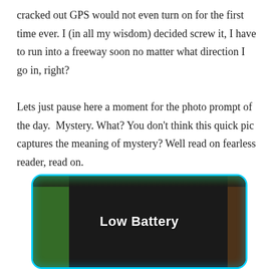cracked out GPS would not even turn on for the first time ever. I (in all my wisdom) decided screw it, I have to run into a freeway soon no matter what direction I go in, right?
Lets just pause here a moment for the photo prompt of the day.  Mystery. What? You don't think this quick pic captures the meaning of mystery? Well read on fearless reader, read on.
[Figure (photo): Photo of a GPS device screen displaying 'Low Battery' message in white bold text on a dark/black screen, with a glowing light blue border and green background visible on the sides.]